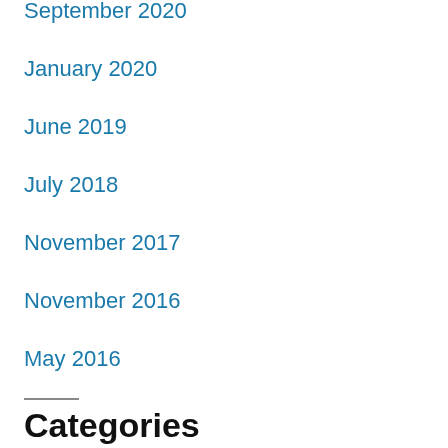September 2020
January 2020
June 2019
July 2018
November 2017
November 2016
May 2016
Categories
Facial Care